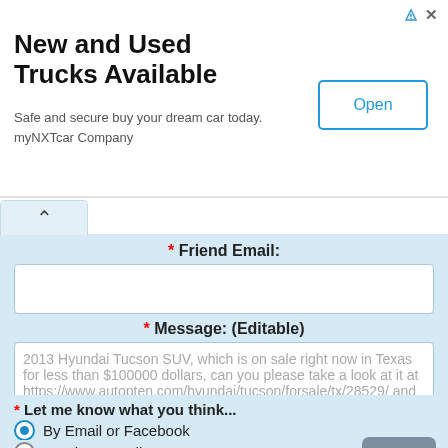[Figure (screenshot): Advertisement banner for myNXTcar Company - New and Used Trucks Available with Open button]
New and Used Trucks Available
Safe and secure buy your dream car today.
myNXTcar Company
* Friend Email:
* Message: (Editable)
2013 Hyundai Tucson SUV, which is on sale right now in Texas for less than $100000 dollars, can you please take a look at it at https://www.autopten.com/hyundai/tucson/forsale/tx/28529/ and let me know what you think? thanks!
* Let me know what you think...
By Email or Facebook
By Phone, Call Me!